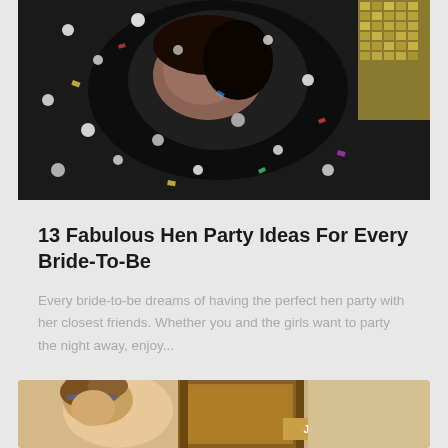[Figure (photo): Person lying back with confetti falling, dark background, disco ball visible on the right side]
13 Fabulous Hen Party Ideas For Every Bride-To-Be
Every bride-to-be dreams of having the perfect hen party with her closest friends. Whether you and the girls want to party the night away, enjoy...
[Figure (photo): Person with curly hair and ornate golden frame, with date badge reading JULY 23, 2019]